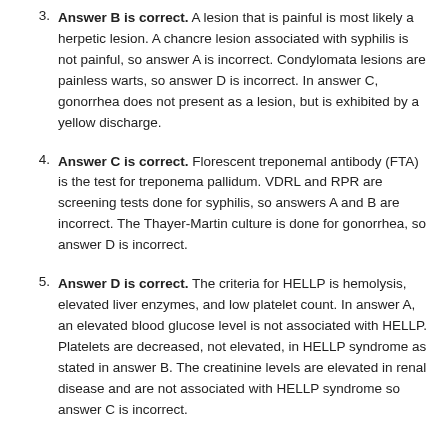Answer B is correct. A lesion that is painful is most likely a herpetic lesion. A chancre lesion associated with syphilis is not painful, so answer A is incorrect. Condylomata lesions are painless warts, so answer D is incorrect. In answer C, gonorrhea does not present as a lesion, but is exhibited by a yellow discharge.
Answer C is correct. Florescent treponemal antibody (FTA) is the test for treponema pallidum. VDRL and RPR are screening tests done for syphilis, so answers A and B are incorrect. The Thayer-Martin culture is done for gonorrhea, so answer D is incorrect.
Answer D is correct. The criteria for HELLP is hemolysis, elevated liver enzymes, and low platelet count. In answer A, an elevated blood glucose level is not associated with HELLP. Platelets are decreased, not elevated, in HELLP syndrome as stated in answer B. The creatinine levels are elevated in renal disease and are not associated with HELLP syndrome so answer C is incorrect.